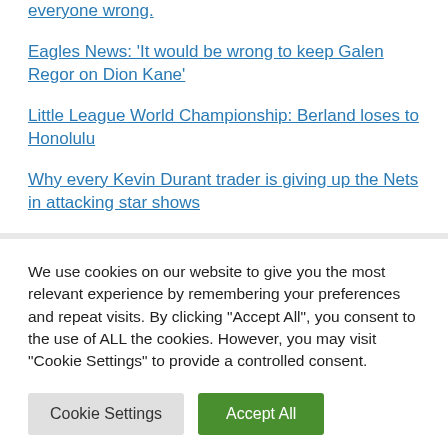everyone wrong.
Eagles News: 'It would be wrong to keep Galen Regor on Dion Kane'
Little League World Championship: Berland loses to Honolulu
Why every Kevin Durant trader is giving up the Nets in attacking star shows
We use cookies on our website to give you the most relevant experience by remembering your preferences and repeat visits. By clicking "Accept All", you consent to the use of ALL the cookies. However, you may visit "Cookie Settings" to provide a controlled consent.
Cookie Settings | Accept All